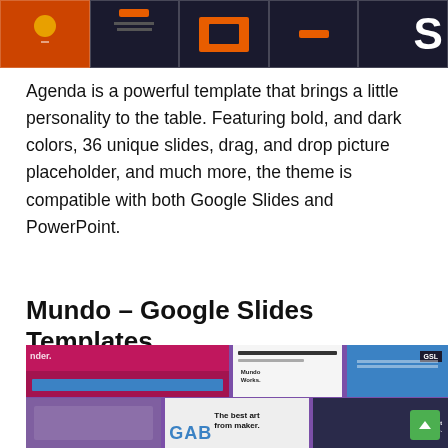[Figure (screenshot): Cropped top portion of an orange-themed presentation template preview showing dark slide panels with an orange background and a large 'S' letterform]
Agenda is a powerful template that brings a little personality to the table. Featuring bold, and dark colors, 36 unique slides, drag, and drop picture placeholder, and much more, the theme is compatible with both Google Slides and PowerPoint.
Mundo – Google Slides Templates
[Figure (screenshot): Preview collage of Mundo Google Slides template showing colorful slides with pink, blue, yellow, purple, and green color blocks, with text 'GAB', 'Mundo Works.', 'The best art from maker.', and 'GSL' badge visible]